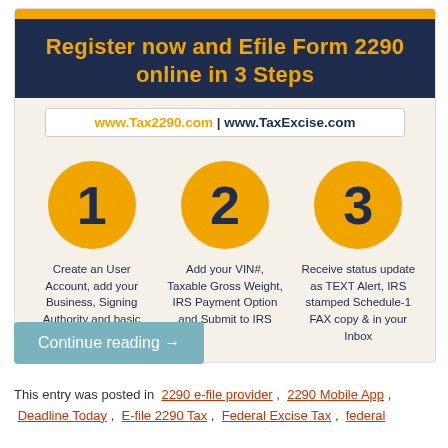[Figure (infographic): Infographic showing 3 steps to register and e-file Form 2290 online, with orange circles numbered 1, 2, 3 and step descriptions, on a dark navy header with orange title text and website URLs]
Continue reading →
This entry was posted in  2290 e-file provider ,  2290 Mobile App ,  Deadline Today ,  E-file 2290 Tax ,  Federal Excise Tax ,  federal